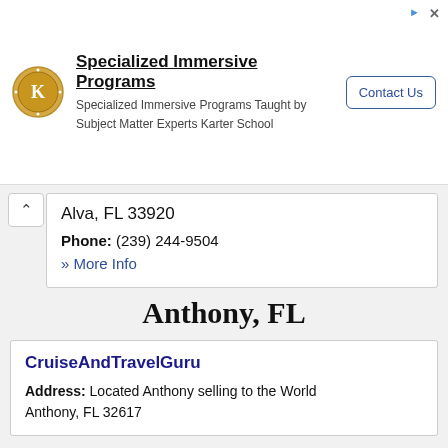[Figure (other): Advertisement banner for Karter School showing logo, title 'Specialized Immersive Programs', subtitle text, and Contact Us button]
Alva, FL 33920
Phone: (239) 244-9504
» More Info
Anthony, FL
CruiseAndTravelGuru
Address: Located Anthony selling to the World
Anthony, FL 32617